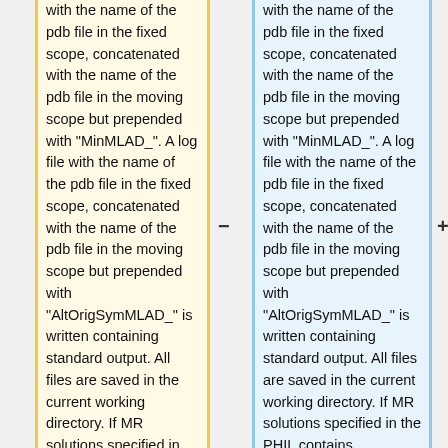with the name of the pdb file in the fixed scope, concatenated with the name of the pdb file in the moving scope but prepended with "MinMLAD_". A log file with the name of the pdb file in the fixed scope, concatenated with the name of the pdb file in the moving scope but prepended with "AltOrigSymMLAD_" is written containing standard output. All files are saved in the current working directory. If MR solutions specified in the PHIL contains
with the name of the pdb file in the fixed scope, concatenated with the name of the pdb file in the moving scope but prepended with "MinMLAD_". A log file with the name of the pdb file in the fixed scope, concatenated with the name of the pdb file in the moving scope but prepended with "AltOrigSymMLAD_" is written containing standard output. All files are saved in the current working directory. If MR solutions specified in the PHIL contains